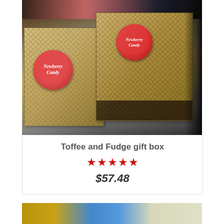[Figure (photo): Photo of Newberry Candy Toffee and Fudge gift boxes wrapped in clear plastic, showing toffee pieces with nut toppings. Two red circular Newberry Candy labels are visible on the packages, on a metal surface with dark background.]
Toffee and Fudge gift box
★★★★★ $57.48
[Figure (photo): Partial view of another product at the bottom of the page, showing gold, blue, and cream colored items.]